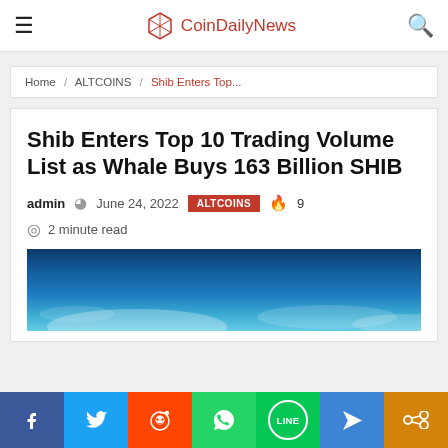CoinDailyNews
Home / ALTCOINS / Shib Enters Top...
Shib Enters Top 10 Trading Volume List as Whale Buys 163 Billion SHIB
admin  June 24, 2022  ALTCOINS  🔥 9
2 minute read
[Figure (photo): Ocean/water aerial photo used as article header image]